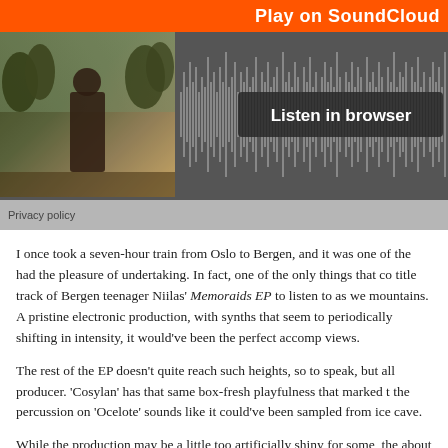[Figure (screenshot): SoundCloud embedded player widget showing orange header bar with 'Play on SoundCloud' text, an album artwork thumbnail of a person outdoors, a waveform display, a 'Listen in browser' button, and a 'Privacy policy' label at the bottom.]
I once took a seven-hour train from Oslo to Bergen, and it was one of the had the pleasure of undertaking. In fact, one of the only things that co title track of Bergen teenager Niilas' Memoraids EP to listen to as we mountains. A pristine electronic production, with synths that seem to periodically shifting in intensity, it would've been the perfect accomp views.
The rest of the EP doesn't quite reach such heights, so to speak, but all producer. 'Cosylan' has that same box-fresh playfulness that marked t the percussion on 'Ocelote' sounds like it could've been sampled from ice cave.
While the production may be a little too artificially shiny for some, the about the broken bottle breakdown of '24OZ' and the airy melodies o like something off Plaid's soundtrack for Tekkonkinkreet. If Niilas is s